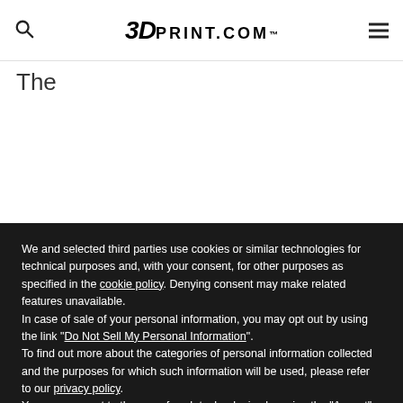3DPRINT.COM™
The
We and selected third parties use cookies or similar technologies for technical purposes and, with your consent, for other purposes as specified in the cookie policy. Denying consent may make related features unavailable.
In case of sale of your personal information, you may opt out by using the link "Do Not Sell My Personal Information".
To find out more about the categories of personal information collected and the purposes for which such information will be used, please refer to our privacy policy.
You can consent to the use of such technologies by using the "Accept" button, by scrolling this page, by interacting with any link or button outside of this notice or by continuing to browse otherwise.